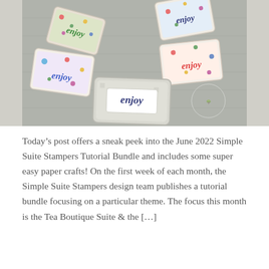[Figure (photo): Top-down photo of multiple small fabric/textile pouches or sachets with floral and patterned fabric, each featuring the word 'enjoy' in various colors and fonts, arranged on a wooden grey surface.]
Today's post offers a sneak peek into the June 2022 Simple Suite Stampers Tutorial Bundle and includes some super easy paper crafts! On the first week of each month, the Simple Suite Stampers design team publishes a tutorial bundle focusing on a particular theme. The focus this month is the Tea Boutique Suite & the […]